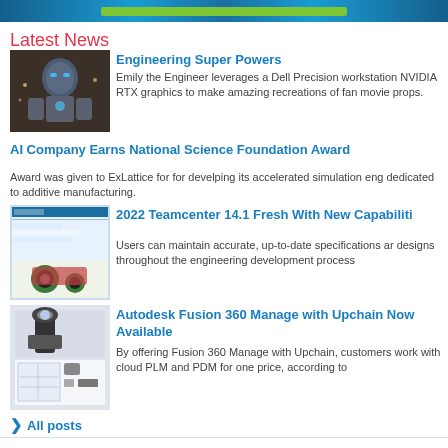[Figure (other): Green and blue banner bar at top of page]
Latest News
[Figure (photo): Iron Man suit figure with glowing blue lights against warm background]
Engineering Super Powers
Emily the Engineer leverages a Dell Precision workstation NVIDIA RTX graphics to make amazing recreations of fan movie props.
AI Company Earns National Science Foundation Award
Award was given to ExLattice for for develping its accelerated simulation eng dedicated to additive manufacturing.
[Figure (screenshot): Teamcenter software interface screenshot with 3D model of wheeled vehicle]
2022 Teamcenter 14.1 Fresh With New Capabiliti
Users can maintain accurate, up-to-date specifications ar designs throughout the engineering development process
[Figure (photo): Autodesk Fusion 360 product images showing a flashlight and technical drawings]
Autodesk Fusion 360 Manage with Upchain Now Available
By offering Fusion 360 Manage with Upchain, customers work with cloud PLM and PDM for one price, according to
> All posts